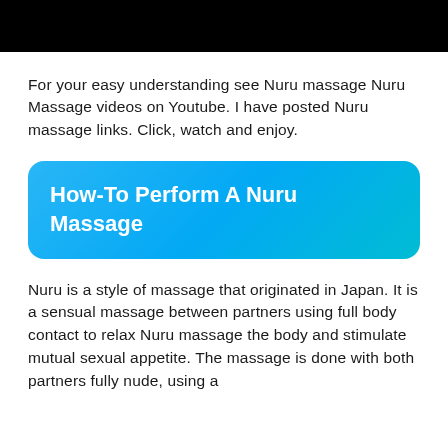[Figure (photo): Black rectangle at the top of the page, likely a redacted or cropped image area]
For your easy understanding see Nuru massage Nuru Massage videos on Youtube. I have posted Nuru massage links. Click, watch and enjoy.
How-To Perform A Nuru Massage
Nuru is a style of massage that originated in Japan. It is a sensual massage between partners using full body contact to relax Nuru massage the body and stimulate mutual sexual appetite. The massage is done with both partners fully nude, using a